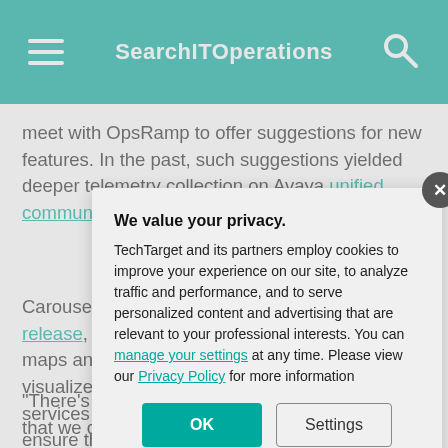SearchITOperations
meet with OpsRamp to offer suggestions for new features. In the past, such suggestions yielded deeper telemetry collection on Avaya unified communications devices, among other updates.
Carousel has wa... [latest release], rolled o... maps and obser... visualize the rela... services and pe... ensure they beh... these features w... intervention requ...
"There's still abo... that we can elim... events, we could...
We value your privacy.
TechTarget and its partners employ cookies to improve your experience on our site, to analyze traffic and performance, and to serve personalized content and advertising that are relevant to your professional interests. You can manage your settings at any time. Please view our Privacy Policy for more information